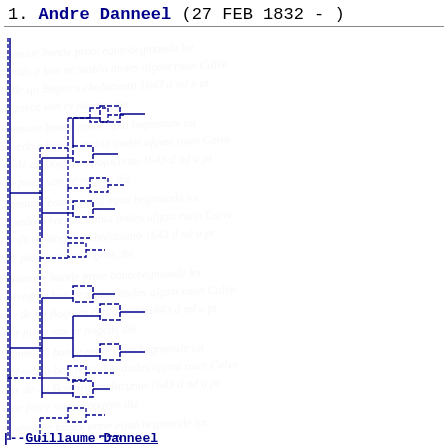1. Andre Danneel (27 FEB 1832 -)
[Figure (other): Genealogical tree diagram showing ancestry/descendant lines for Andre Danneel, rendered as a box-and-line pedigree chart with dashed connector lines in blue/navy. Background shows faded handwritten text as watermark.]
--Guillaume Danneel